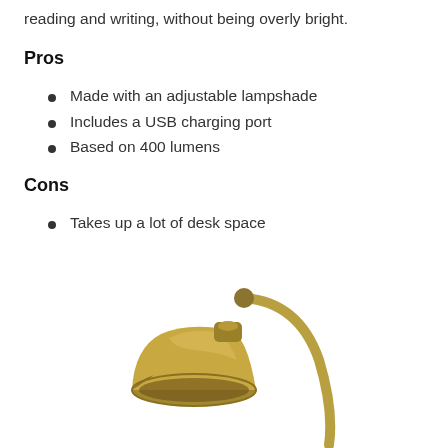reading and writing, without being overly bright.
Pros
Made with an adjustable lampshade
Includes a USB charging port
Based on 400 lumens
Cons
Takes up a lot of desk space
[Figure (photo): A brass/gold desk lamp with an adjustable shade and curved arm, photographed against a white background.]